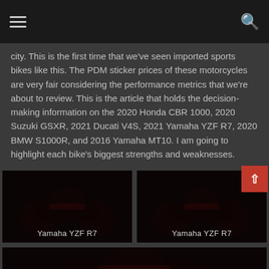Navigation bar with hamburger menu and search icon
city. This is the first time that we've seen imported sports bikes like this. The PDM sticker prices of these motorcycles are very fair considering the performance metrics that we're about to review. This is the article that holds the decision-making information on the 2020 Honda CBR 1000, 2020 Suzuki GSXR, 2021 Ducati V4S, 2021 Yamaha YZF R7, 2020 BMW S1000R, and 2016 Yamaha MT10. I am going to highlight each bike's biggest strengths and weaknesses.
[Figure (photo): Dark photo of a Yamaha YZF R7 motorcycle with label 'Yamaha YZF R7' at bottom]
[Figure (photo): Dark photo of a Yamaha YZF R7 motorcycle with label 'Yamaha YZF R7' at bottom]
[Figure (photo): Dark partial photo of a motorcycle at the bottom of the page]